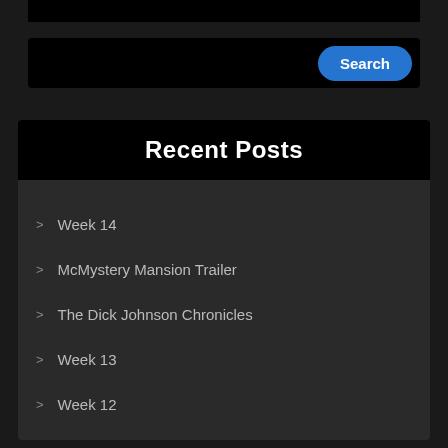[Figure (screenshot): Dark themed website screenshot showing a search bar with a blue Search button on the right, and a Recent Posts widget below with links to Week 14, McMystery Mansion Trailer, The Dick Johnson Chronicles, Week 13, Week 12]
Recent Posts
Week 14
McMystery Mansion Trailer
The Dick Johnson Chronicles
Week 13
Week 12